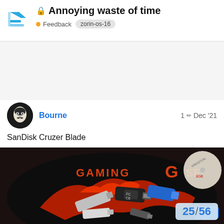🔒 Annoying waste of time • Feedback zorin-os-16
Bourne  1 ✏ Dec '21
SanDisk Cruzer Blade
[Figure (photo): Multiple USB flash drives spread on a dark MSI Gaming mousepad with a red dragon logo. One circular disc in upper right corner. Counter overlay shows 25/56.]